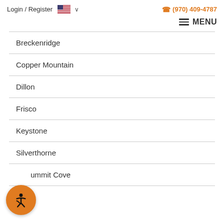Login / Register  🇺🇸 ∨    📞 (970) 409-4787
≡ MENU
Breckenridge
Copper Mountain
Dillon
Frisco
Keystone
Silverthorne
Summit Cove